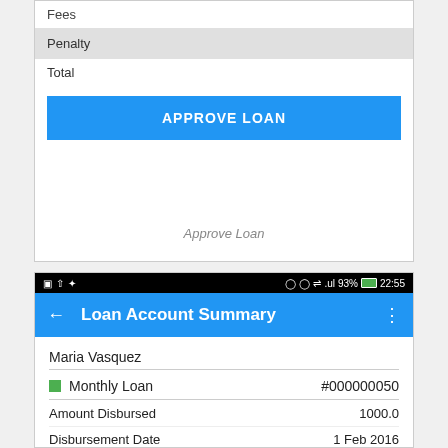Fees
Penalty
Total
APPROVE LOAN
Approve Loan
[Figure (screenshot): Mobile app screenshot showing Loan Account Summary screen for Maria Vasquez with Monthly Loan #000000050, Amount Disbursed 1000.0, Disbursement Date 1 Feb 2016, In Arrears 540.0, Staff field, and Summary table header with columns Loan, Amt. Paid, Balance]
| Summary | Loan | Amt. Paid | Balance |
| --- | --- | --- | --- |